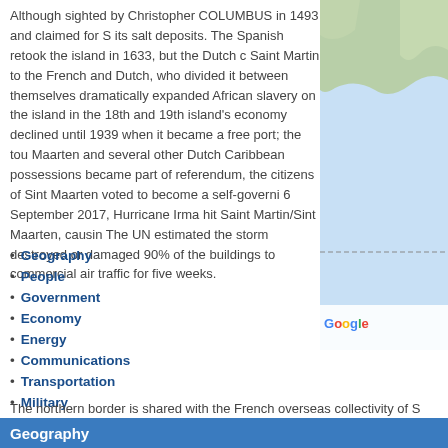Although sighted by Christopher COLUMBUS in 1493 and claimed for S... its salt deposits. The Spanish retook the island in 1633, but the Dutch c... Saint Martin to the French and Dutch, who divided it between themselves... dramatically expanded African slavery on the island in the 18th and 19th... island's economy declined until 1939 when it became a free port; the tou... Maarten and several other Dutch Caribbean possessions became part of... referendum, the citizens of Sint Maarten voted to become a self-governi... 6 September 2017, Hurricane Irma hit Saint Martin/Sint Maarten, causin... The UN estimated the storm destroyed or damaged 90% of the buildings... to commercial air traffic for five weeks.
Geography
People
Government
Economy
Energy
Communications
Transportation
Military
Transnational Issues
[Figure (map): Google Maps partial view showing a coastal region, likely Caribbean area, with blue water and green/tan land. A dashed border line is visible. Google logo shown at bottom.]
Geography
The northern border is shared with the French overseas collectivity of S...